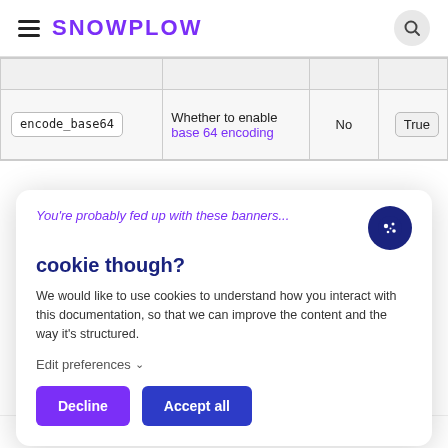SNOWPLOW
|  | Description | Required | Default |
| --- | --- | --- | --- |
| encode_base64 | Whether to enable base 64 encoding | No | True |
You're probably fed up with these banners...
cookie though?
We would like to use cookies to understand how you interact with this documentation, so that we can improve the content and the way it's structured.
Edit preferences
Decline
Accept all
will, in turn, send them on to a collector